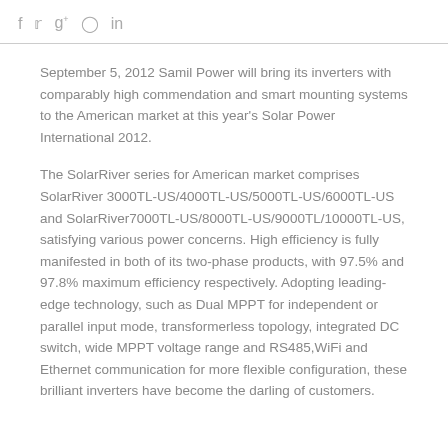f  t  g+  p  in
September 5, 2012 Samil Power will bring its inverters with comparably high commendation and smart mounting systems to the American market at this year's Solar Power International 2012.
The SolarRiver series for American market comprises SolarRiver 3000TL-US/4000TL-US/5000TL-US/6000TL-US and SolarRiver7000TL-US/8000TL-US/9000TL/10000TL-US, satisfying various power concerns. High efficiency is fully manifested in both of its two-phase products, with 97.5% and 97.8% maximum efficiency respectively. Adopting leading-edge technology, such as Dual MPPT for independent or parallel input mode, transformerless topology, integrated DC switch, wide MPPT voltage range and RS485,WiFi and Ethernet communication for more flexible configuration, these brilliant inverters have become the darling of customers.